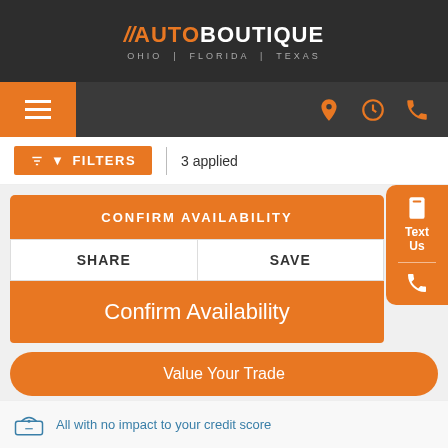//AUTO BOUTIQUE OHIO | FLORIDA | TEXAS
[Figure (screenshot): Navigation bar with hamburger menu on left (orange) and icons (location, clock, phone) on right in orange]
FILTERS | 3 applied
CONFIRM AVAILABILITY
SHARE
SAVE
Confirm Availability
Value Your Trade
Get Pre-Approved
All with no impact to your credit score